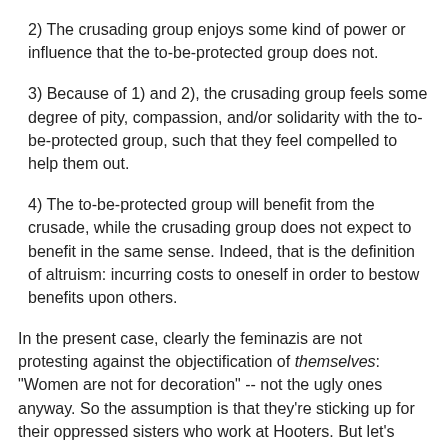2) The crusading group enjoys some kind of power or influence that the to-be-protected group does not.
3) Because of 1) and 2), the crusading group feels some degree of pity, compassion, and/or solidarity with the to-be-protected group, such that they feel compelled to help them out.
4) The to-be-protected group will benefit from the crusade, while the crusading group does not expect to benefit in the same sense. Indeed, that is the definition of altruism: incurring costs to oneself in order to bestow benefits upon others.
In the present case, clearly the feminazis are not protesting against the objectification of themselves: "Women are not for decoration" -- not the ugly ones anyway. So the assumption is that they're sticking up for their oppressed sisters who work at Hooters. But let's have a look at whether the crucial features of altruistic crusading are met. As for 1), the real